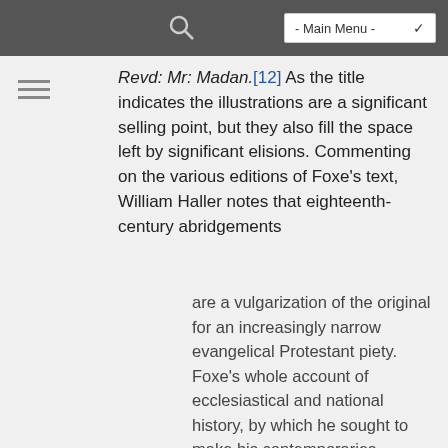- Main Menu -
Revd: Mr: Madan.[12] As the title indicates the illustrations are a significant selling point, but they also fill the space left by significant elisions. Commenting on the various editions of Foxe's text, William Haller notes that eighteenth-century abridgements
are a vulgarization of the original for an increasingly narrow evangelical Protestant piety. Foxe's whole account of ecclesiastical and national history, by which he sought to make his contemporaries understand what happened in Mary's reign and its bearing on the situation in which they found themselves under her successor dropped completely out. (252)